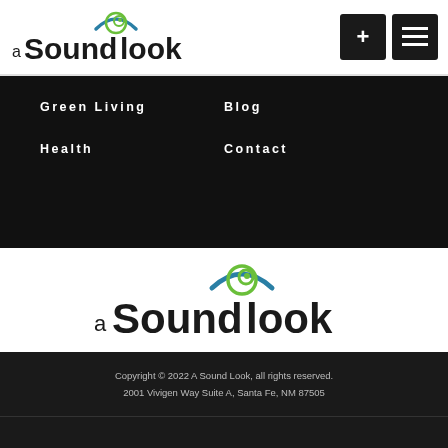[Figure (logo): aSoundlook logo with eye icon in header]
[Figure (other): Two dark navigation buttons: plus sign and list icon]
Green Living
Blog
Health
Contact
[Figure (logo): aSoundlook logo centered on white background]
Copyright © 2022 A Sound Look, all rights reserved.
2001 Vivigen Way Suite A,  Santa Fe, NM 87505
(505) 983-5509
DIRECTIONS